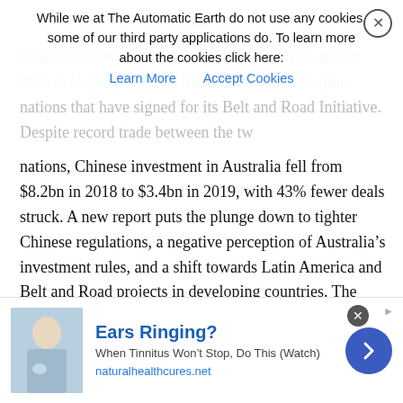Chinese investment in Australia has fallen by almost 60% as Beijing shifts its focus towards developing nations that have signed for its Belt and Road Initiative. Despite record trade between the two nations, Chinese investment in Australia fell from $8.2bn in 2018 to $3.4bn in 2019, with 43% fewer deals struck. A new report puts the plunge down to tighter Chinese regulations, a negative perception of Australia’s investment rules, and a shift towards Latin America and Belt and Road projects in developing countries. The KPMG and University of Sydney study found new Chinese investment in Australia had plunged to its lowest level since 2007.
Hans Hendrischke, one of the report’s authors, said the decline mirrored similar patterns in other western countries. But he said Chinese investment into Australia had fallen at a faster rate than other nations including the United States. Australian food and agricultural businesses were the biggest recipients of Chinese investment, with 44% of the total funding flowing into the sector. The result was largely
[Figure (other): Advertisement banner: Ears Ringing? When Tinnitus Won't Stop, Do This (Watch) - naturalhealthcures.net, with image of person and blue arrow button]